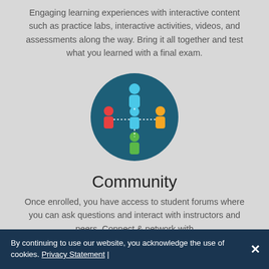Engaging learning experiences with interactive content such as practice labs, interactive activities, videos, and assessments along the way. Bring it all together and test what you learned with a final exam.
[Figure (illustration): Community icon: a teal circular background with stylized human figures in blue (top), red (left), yellow/orange (right), green (bottom), and a central teal figure, connected by dotted lines in a network pattern.]
Community
Once enrolled, you have access to student forums where you can ask questions and interact with instructors and peers. Connect & network with
By continuing to use our website, you acknowledge the use of cookies. Privacy Statement |